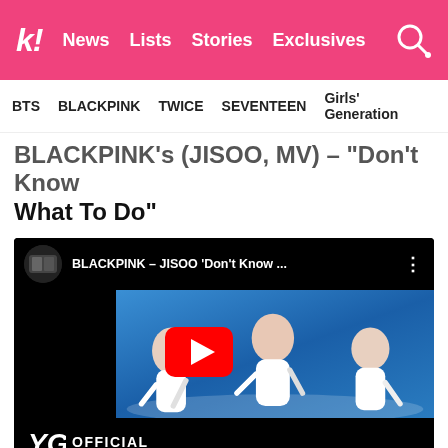k! News  Lists  Stories  Exclusives
BTS  BLACKPINK  TWICE  SEVENTEEN  Girls' Generation
BLACKPINK's JISOO — "Don't Know What To Do"
[Figure (screenshot): YouTube video embed showing BLACKPINK - JISOO 'Don't Know What To Do' performance video with YG OFFICIAL channel, dancers in white outfits on blue-lit stage, red YouTube play button overlay]